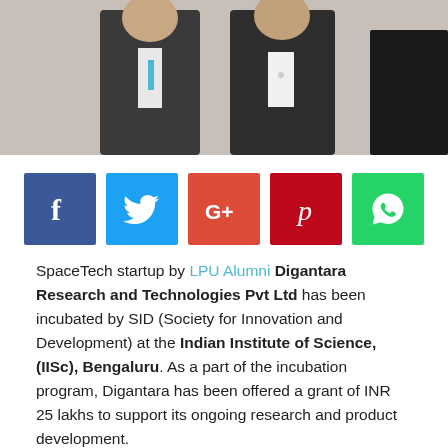[Figure (photo): Two men in dark suits standing together, photo cropped at waist level]
[Figure (infographic): Social media share buttons: Facebook (blue), Twitter (cyan), Google+ (orange-red), Pinterest (red), WhatsApp (green)]
SpaceTech startup by LPU Alumni Digantara Research and Technologies Pvt Ltd has been incubated by SID (Society for Innovation and Development) at the Indian Institute of Science, (IISc), Bengaluru. As a part of the incubation program, Digantara has been offered a grant of INR 25 lakhs to support its ongoing research and product development.
Founded by Anirudh Sharma & Rahul Rawat in 2018 from their dormitory at Lovely Professional University, Digantara is India's first air and space Surveillance Company which focuses on space tech solutions ranging from satellite component design…